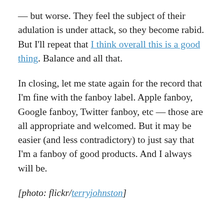— but worse. They feel the subject of their adulation is under attack, so they become rabid. But I'll repeat that I think overall this is a good thing. Balance and all that.
In closing, let me state again for the record that I'm fine with the fanboy label. Apple fanboy, Google fanboy, Twitter fanboy, etc — those are all appropriate and welcomed. But it may be easier (and less contradictory) to just say that I'm a fanboy of good products. And I always will be.
[photo: flickr/terryjohnston]